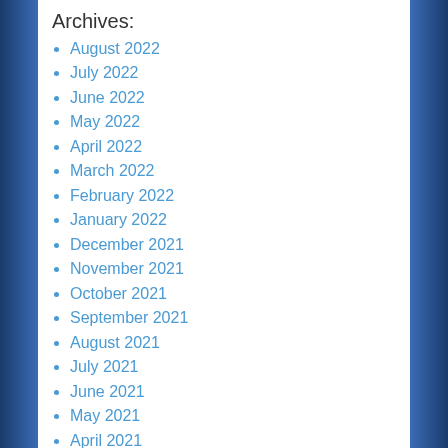Archives:
August 2022
July 2022
June 2022
May 2022
April 2022
March 2022
February 2022
January 2022
December 2021
November 2021
October 2021
September 2021
August 2021
July 2021
June 2021
May 2021
April 2021
March 2021
February 2021
January 2021
December 2020